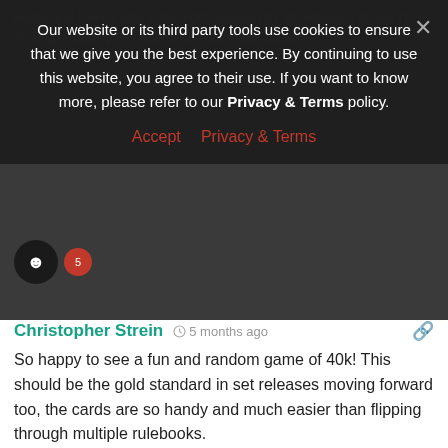watch and I feel a step in the right direction for 9th edition... for me I'm looking to buying this also once I get those cards!
Our website or its third party tools use cookies to ensure that we give you the best experience. By continuing to use this website, you agree to their use. If you want to know more, please refer to our Privacy & Terms policy.
Accept   Privacy & Terms
Christopher Strein  ·  5 months ago
So happy to see a fun and random game of 40k! This should be the gold standard in set releases moving forward too, the cards are so handy and much easier than flipping through multiple rulebooks.
0
Scott Dominey  ·  5 months ago
Excellent. Well done as always.
0